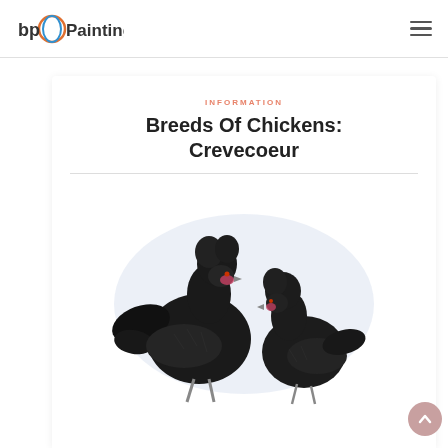[Figure (logo): bp Painting logo with circular orange and blue graphic next to stylized text 'bp Painting']
INFORMATION
Breeds Of Chickens: Crevecoeur
[Figure (illustration): Illustration of two black Crevecoeur chickens (rooster and hen) with distinctive crests, depicted on a light blue/white background]